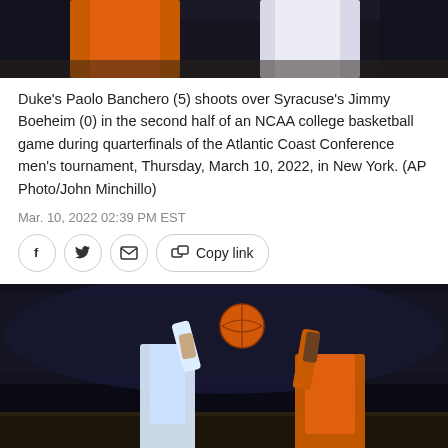[Figure (photo): Top portion of basketball game photo showing player in orange jersey and player in white jersey]
Duke's Paolo Banchero (5) shoots over Syracuse's Jimmy Boeheim (0) in the second half of an NCAA college basketball game during quarterfinals of the Atlantic Coast Conference men's tournament, Thursday, March 10, 2022, in New York. (AP Photo/John Minchillo)
Mar. 10, 2022 02:39 PM EST
[Figure (photo): Basketball game photo showing player shooting ball over defender in orange Syracuse jersey, crowd in background]